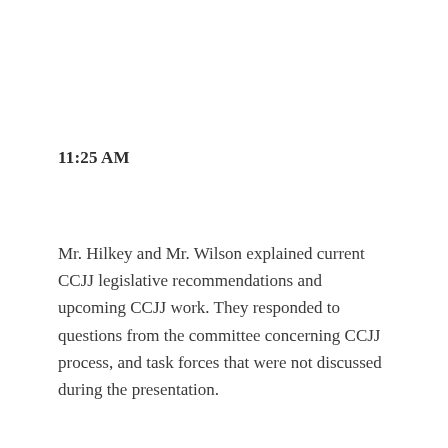11:25 AM
Mr. Hilkey and Mr. Wilson explained current CCJJ legislative recommendations and upcoming CCJJ work. They responded to questions from the committee concerning CCJJ process, and task forces that were not discussed during the presentation.